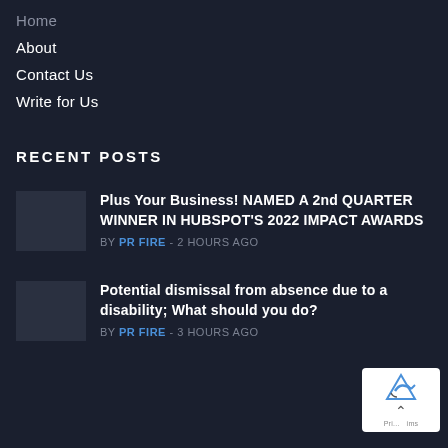Home
About
Contact Us
Write for Us
RECENT POSTS
Plus Your Business! NAMED A 2nd QUARTER WINNER IN HUBSPOT'S 2022 IMPACT AWARDS
BY PR FIRE - 2 HOURS AGO
Potential dismissal from absence due to a disability; What should you do?
BY PR FIRE - 3 HOURS AGO